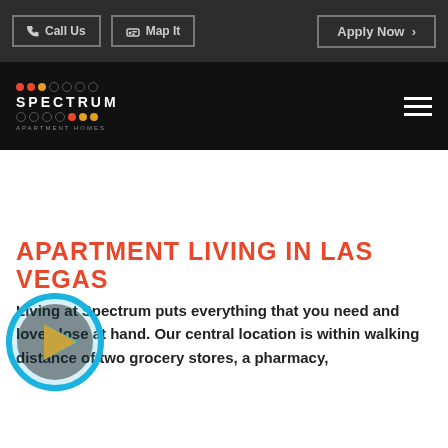Call Us  Map It  Apply Now
[Figure (logo): Spectrum Apartment Homes logo with colorful dots grid and hamburger menu icon]
APARTMENT LIVING IN LAS VEGAS
[Figure (other): Play button icon (blue circle with cyan border and white/orange triangle)]
Living at Spectrum puts everything that you need and love close at hand. Our central location is within walking distance of two grocery stores, a pharmacy,